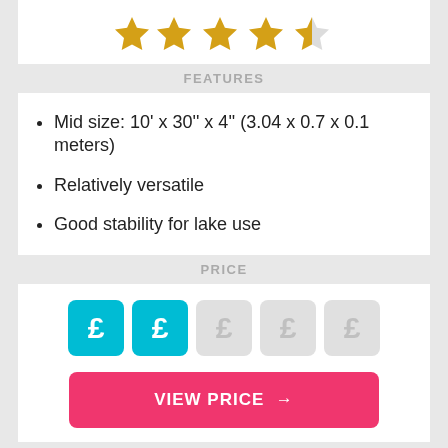[Figure (other): Star rating: 4.5 out of 5 stars, shown as 4 full gold stars and 1 half gold/grey star]
FEATURES
Mid size: 10' x 30'' x 4'' (3.04 x 0.7 x 0.1 meters)
Relatively versatile
Good stability for lake use
PRICE
[Figure (other): Price rating shown as 2 active cyan pound sign icons and 3 inactive grey pound sign icons]
VIEW PRICE →